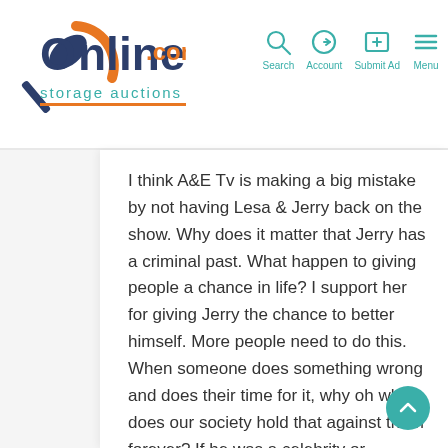Online Storage Auctions .com — Search, Account, Submit Ad, Menu
I think A&E Tv is making a big mistake by not having Lesa & Jerry back on the show. Why does it matter that Jerry has a criminal past. What happen to giving people a chance in life? I support her for giving Jerry the chance to better himself. More people need to do this. When someone does something wrong and does their time for it, why oh why does our society hold that against them forever? If he was a celebrity or political person they wouldn't.